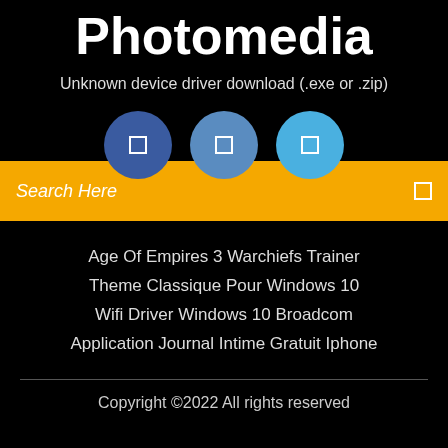Photomedia
Unknown device driver download (.exe or .zip)
[Figure (illustration): Three circular icon buttons in shades of blue (dark blue, medium blue, light blue), each with a small square icon/symbol in white]
Search Here
Age Of Empires 3 Warchiefs Trainer
Theme Classique Pour Windows 10
Wifi Driver Windows 10 Broadcom
Application Journal Intime Gratuit Iphone
Copyright ©2022 All rights reserved